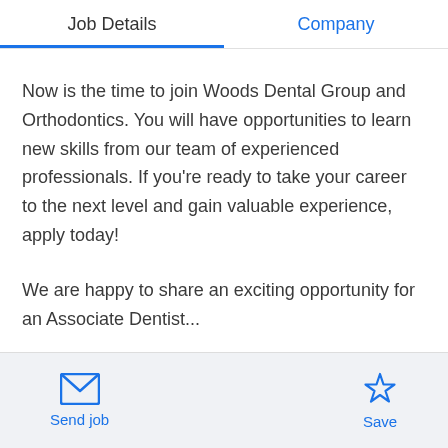Job Details | Company
Now is the time to join Woods Dental Group and Orthodontics. You will have opportunities to learn new skills from our team of experienced professionals. If you're ready to take your career to the next level and gain valuable experience, apply today!
We are happy to share an exciting opportunity for an Associate Dentist...
Send job | Save